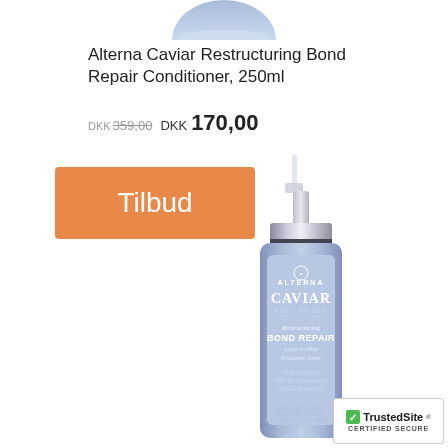[Figure (photo): Top portion of a blue/lavender hair product bottle (conditioner), partially cropped at top of page]
Alterna Caviar Restructuring Bond Repair Conditioner, 250ml
DKK 359,00 DKK 170,00 (old price struck through, new price bold)
[Figure (photo): Orange 'Tilbud' (offer/sale) badge on left, and Alterna Caviar Anti-Aging Restructuring Bond Repair Leave-in Heat Protection Spray product bottle on right]
[Figure (logo): TrustedSite CERTIFIED SECURE badge in bottom right corner]